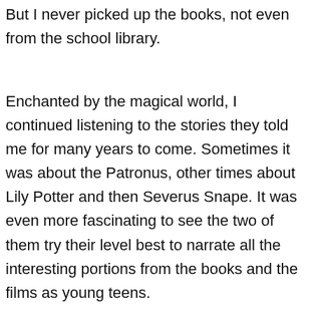But I never picked up the books, not even from the school library.
Enchanted by the magical world, I continued listening to the stories they told me for many years to come. Sometimes it was about the Patronus, other times about Lily Potter and then Severus Snape. It was even more fascinating to see the two of them try their level best to narrate all the interesting portions from the books and the films as young teens.